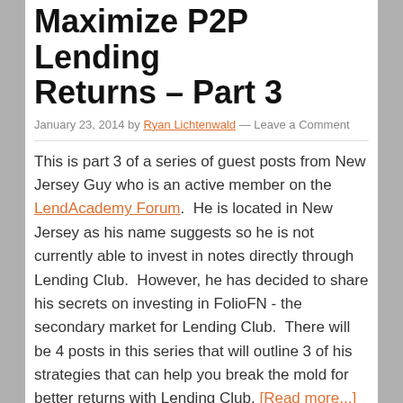Maximize P2P Lending Returns – Part 3
January 23, 2014 by Ryan Lichtenwald — Leave a Comment
This is part 3 of a series of guest posts from New Jersey Guy who is an active member on the LendAcademy Forum.  He is located in New Jersey as his name suggests so he is not currently able to invest in notes directly through Lending Club.  However, he has decided to share his secrets on investing in FolioFN - the secondary market for Lending Club.  There will be 4 posts in this series that will outline 3 of his strategies that can help you break the mold for better returns with Lending Club. [Read more...]
Share this:
Twitter | Facebook | LinkedIn